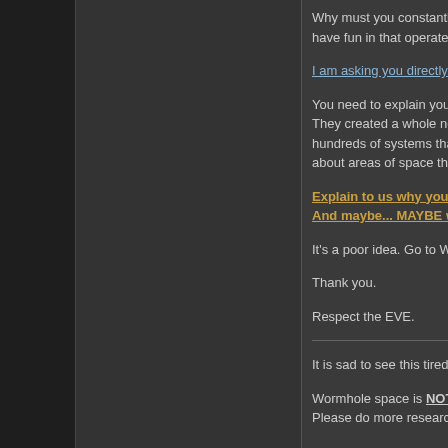Why must you constantly whi... have fun in that operates EXA...
I am asking you directly. Why...
You need to explain yourself b... They created a whole new an... hundreds of systems that wor... about areas of space that oth...
Explain to us why you aren'... And maybe... MAYBE we ca...
It's a poor idea. Go to WH spa...
Thank you.
Respect the EVE.
It is sad to see this tired argumen...
Wormhole space is NOT the sam... Please do more research befor...